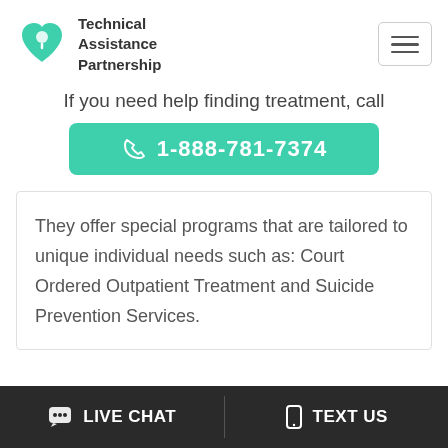Technical Assistance Partnership
If you need help finding treatment, call
1-888-781-7374
They offer special programs that are tailored to unique individual needs such as: Court Ordered Outpatient Treatment and Suicide Prevention Services.
LIVE CHAT   TEXT US